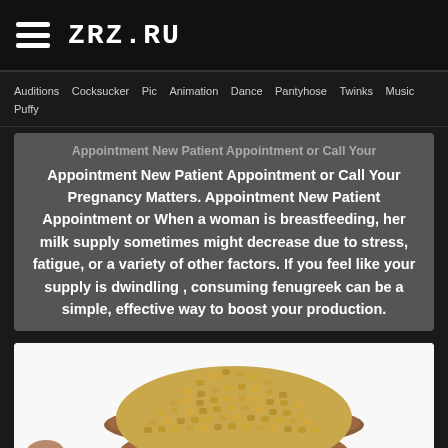ZRZ.RU
Auditions  Cocksucker  Pic  Animation  Dance  Pantyhose  Twinks  Music  Puffy
Appointment New Patient Appointment or Call Your Pregnancy Matters. Appointment New Patient Appointment or When a woman is breastfeeding, her milk supply sometimes might decrease due to stress, fatigue, or a variety of other factors. If you feel like your supply is dwindling , consuming fenugreek can be a simple, effective way to boost your production.
[Figure (photo): A wooden bowl filled with fenugreek seeds, with a wooden spoon beside it, on a white background. A small framed image appears at the bottom center.]